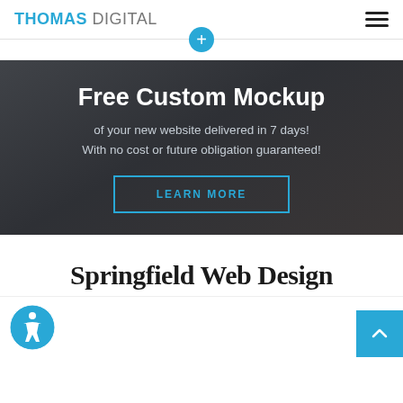THOMAS DIGITAL
[Figure (screenshot): Dark themed hero banner with 'Free Custom Mockup' heading, subtitle text, and LEARN MORE button]
Springfield Web Design